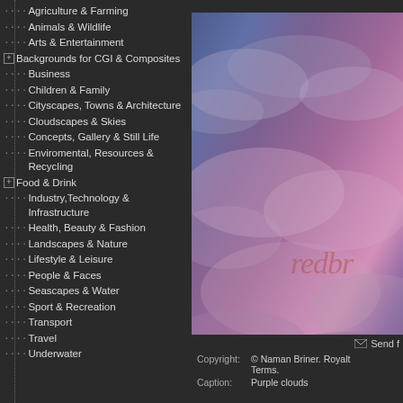Agriculture & Farming
Animals & Wildlife
Arts & Entertainment
[+] Backgrounds for CGI & Composites
Business
Children & Family
Cityscapes, Towns & Architecture
Cloudscapes & Skies
Concepts, Gallery & Still Life
Enviromental, Resources & Recycling
[+] Food & Drink
Industry,Technology & Infrastructure
Health, Beauty & Fashion
Landscapes & Nature
Lifestyle & Leisure
People & Faces
Seascapes & Water
Sport & Recreation
Transport
Travel
Underwater
[Figure (photo): Purple clouds and sky photo with 'redbr' watermark]
Send f
Copyright: © Naman Briner. Royalt Terms.
Caption: Purple clouds